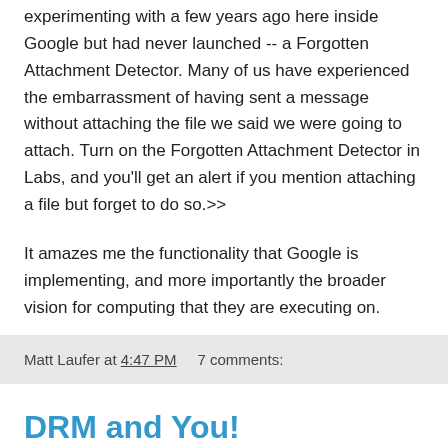experimenting with a few years ago here inside Google but had never launched -- a Forgotten Attachment Detector. Many of us have experienced the embarrassment of having sent a message without attaching the file we said we were going to attach. Turn on the Forgotten Attachment Detector in Labs, and you'll get an alert if you mention attaching a file but forget to do so.>>
It amazes me the functionality that Google is implementing, and more importantly the broader vision for computing that they are executing on.
Matt Laufer at 4:47 PM   7 comments:
DRM and You!
There has been some drama the past few weeks in the gaming world thanks to a game called Spore, which uses DRM (Digital Rights Management) as a security measure on the software. Many of you may be too familiar with DRM on